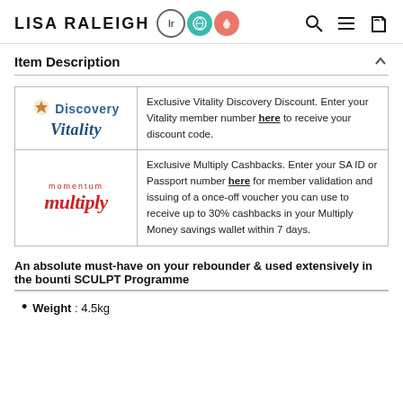LISA RALEIGH
Item Description
| Logo | Description |
| --- | --- |
| Discovery Vitality | Exclusive Vitality Discovery Discount. Enter your Vitality member number here to receive your discount code. |
| momentum multiply | Exclusive Multiply Cashbacks. Enter your SA ID or Passport number here for member validation and issuing of a once-off voucher you can use to receive up to 30% cashbacks in your Multiply Money savings wallet within 7 days. |
An absolute must-have on your rebounder & used extensively in the bounti SCULPT Programme
Weight : 4.5kg